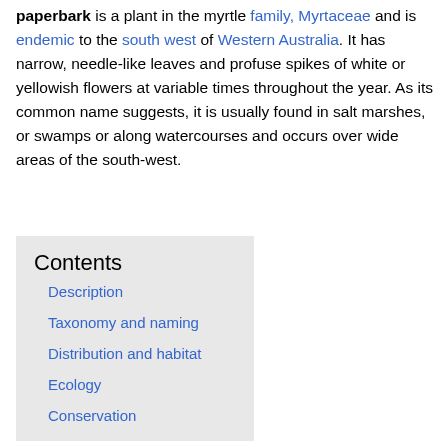paperbark is a plant in the myrtle family, Myrtaceae and is endemic to the south west of Western Australia. It has narrow, needle-like leaves and profuse spikes of white or yellowish flowers at variable times throughout the year. As its common name suggests, it is usually found in salt marshes, or swamps or along watercourses and occurs over wide areas of the south-west.
Contents
Description
Taxonomy and naming
Distribution and habitat
Ecology
Conservation